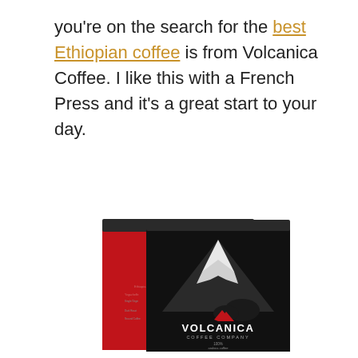you're on the search for the best Ethiopian coffee is from Volcanica Coffee. I like this with a French Press and it's a great start to your day.
[Figure (photo): Two red and black Volcanica Coffee Company coffee bags featuring a volcano graphic with snow-capped peak, the Volcanica Coffee Company logo in white text, and small text reading '100% arabica coffee' at the bottom.]